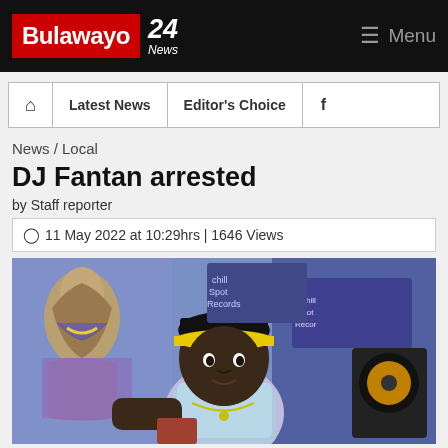Bulawayo 24 News | Menu
| Home | Latest News | Editor's Choice | Facebook |
| --- | --- | --- | --- |
News / Local
DJ Fantan arrested
by Staff reporter
🕐 11 May 2022 at 10:29hrs | 1646 Views
[Figure (photo): DJ Fantan seated in a recording studio with colorful mural artwork on the left wall and studio monitors on the right. He is wearing a black cap with yellow brim and a light blue t-shirt. Studio signage reading 'Chill Spot Records' visible in the background.]